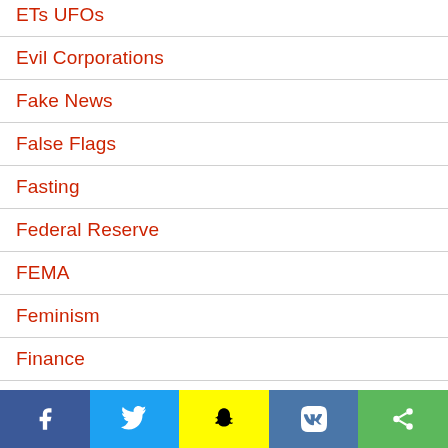ETs UFOs
Evil Corporations
Fake News
False Flags
Fasting
Federal Reserve
FEMA
Feminism
Finance
Fluoride
Forbidden History
Free Energy